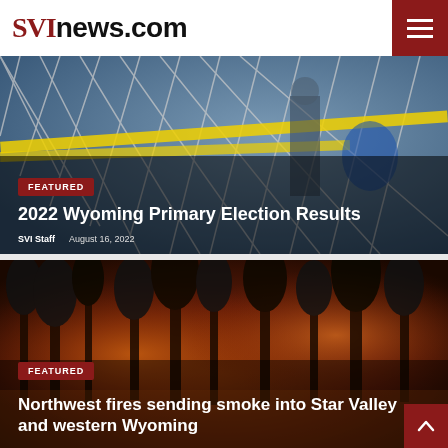SVInews.com
[Figure (photo): Crime scene or election area with yellow caution tape and chain-link fence, person in jeans visible]
FEATURED
2022 Wyoming Primary Election Results
SVI Staff  August 16, 2022
[Figure (photo): Dark forest fire scene with trees silhouetted against orange and red glow from wildfires]
FEATURED
Northwest fires sending smoke into Star Valley and western Wyoming